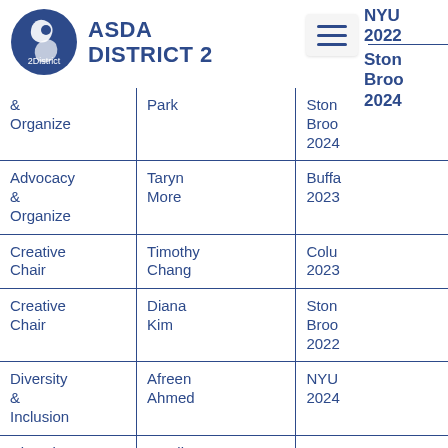[Figure (logo): ASDA District 2 circular logo with blue background and white angular design]
ASDA DISTRICT 2
| Role | Name | School/Year |
| --- | --- | --- |
| & Organize | Park | Stony Brook 2024 |
| Advocacy & Organize | Taryn More | Buffalo 2023 |
| Creative Chair | Timothy Chang | Columbia 2023 |
| Creative Chair | Diana Kim | Stony Brook 2022 |
| Diversity & Inclusion | Afreen Ahmed | NYU 2024 |
| Diversity & Inclusion | Wanlin Zhang | Touro 2023 |
| Members Chair | Rebecca Moore | NYU 2023 |